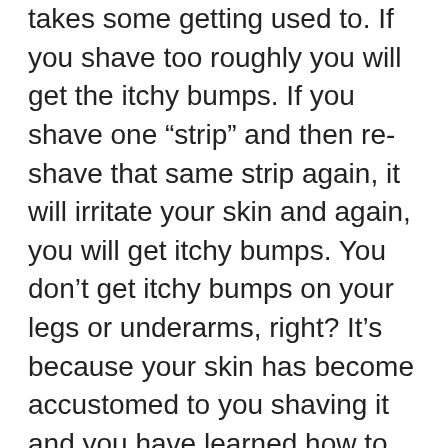takes some getting used to. If you shave too roughly you will get the itchy bumps. If you shave one “strip” and then re-shave that same strip again, it will irritate your skin and again, you will get itchy bumps. You don’t get itchy bumps on your legs or underarms, right? It’s because your skin has become accustomed to you shaving it and you have learned how to do it effectively. The same can be achieved for your bikini area.
As far as the feel of things against the shaven area… I go commando 99% of the time. I have had a hysterectomy, so I don’t have to worry about pantyliner and such. I don’t mind the feel of my jeans/pants/shorts against my shaved skin. I always make sure that i apply moisturizing